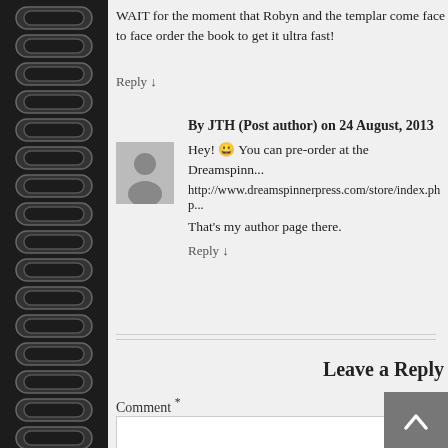WAIT for the moment that Robyn and the templar come face to face order the book to get it ultra fast!
Reply ↓
By JTH (Post author) on 24 August, 2013
Hey! 😀 You can pre-order at the Dreamspinner http://www.dreamspinnerpress.com/store/index.php
That's my author page there.
Reply ↓
Leave a Reply
Comment *